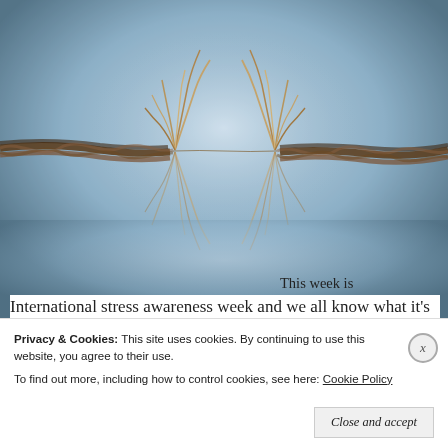[Figure (photo): Close-up photo of a fraying rope about to snap, with strands pulling apart in the center against a blue-grey textured background.]
This week is International stress awareness week and we all know what it's like to feel stressed – being under pressure is a normal part of life. Sometimes we do find it tough and
Privacy & Cookies: This site uses cookies. By continuing to use this website, you agree to their use.
To find out more, including how to control cookies, see here: Cookie Policy
Close and accept